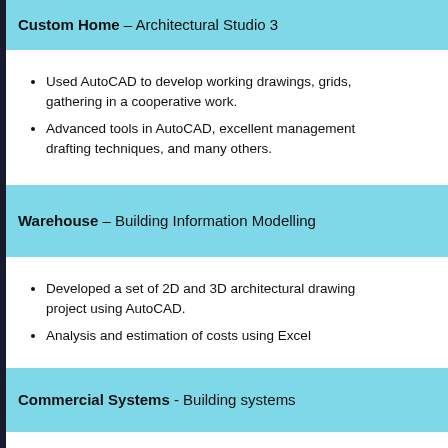Custom Home – Architectural Studio 3
Used AutoCAD to develop working drawings, grids, gathering in a cooperative work.
Advanced tools in AutoCAD, excellent management drafting techniques, and many others.
Warehouse – Building Information Modelling
Developed a set of 2D and 3D architectural drawings project using AutoCAD.
Analysis and estimation of costs using Excel
Commercial Systems - Building systems